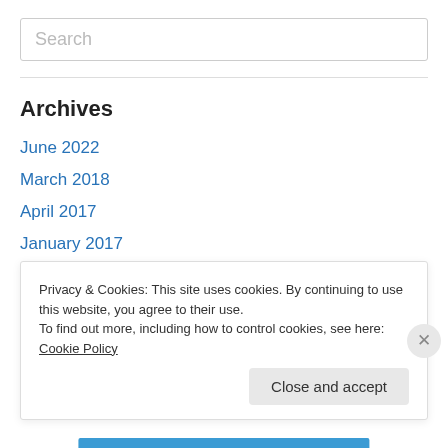Search
Archives
June 2022
March 2018
April 2017
January 2017
March 2015
February 2015
October 2014
Privacy & Cookies: This site uses cookies. By continuing to use this website, you agree to their use. To find out more, including how to control cookies, see here: Cookie Policy
Close and accept